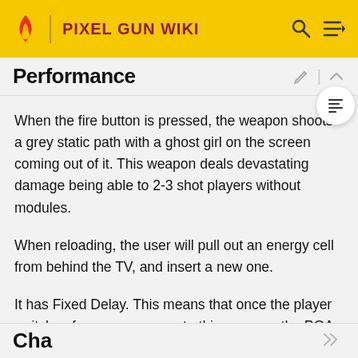PIXEL GUN WIKI
Performance
When the fire button is pressed, the weapon shoots a grey static path with a ghost girl on the screen coming out of it. This weapon deals devastating damage being able to 2-3 shot players without modules.
When reloading, the user will pull out an energy cell from behind the TV, and insert a new one.
It has Fixed Delay. This means that once the player switches from any weapon to this weapon, the PGA-06 TV will always have a pull-up delay lasting around half of a second.
Cha...